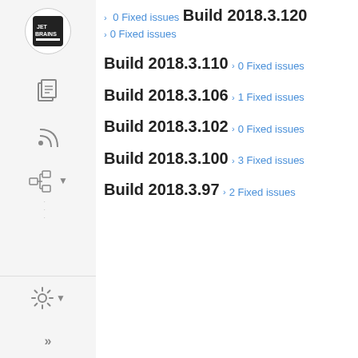0 Fixed issues
Build 2018.3.120
0 Fixed issues
Build 2018.3.110
0 Fixed issues
Build 2018.3.106
1 Fixed issues
Build 2018.3.102
0 Fixed issues
Build 2018.3.100
3 Fixed issues
Build 2018.3.97
2 Fixed issues